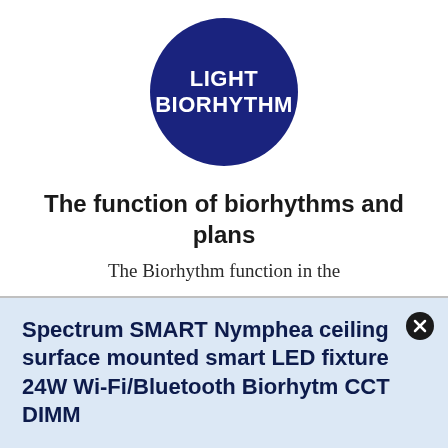[Figure (logo): Dark blue circle logo with white bold text reading LIGHT BIORHYTHM]
The function of biorhythms and plans
The Biorhythm function in the
Spectrum SMART Nymphea ceiling surface mounted smart LED fixture 24W Wi-Fi/Bluetooth Biorhytm CCT DIMM